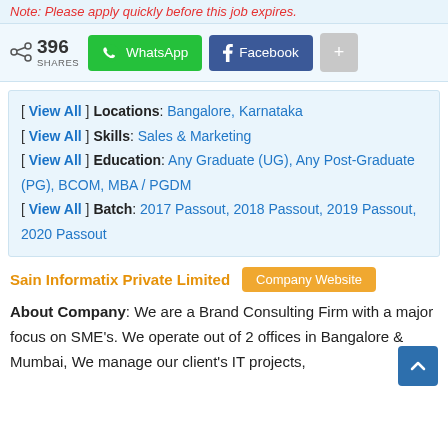Note: Please apply quickly before this job expires.
396 SHARES  WhatsApp  Facebook  +
[ View All ] Locations: Bangalore, Karnataka
[ View All ] Skills: Sales & Marketing
[ View All ] Education: Any Graduate (UG), Any Post-Graduate (PG), BCOM, MBA / PGDM
[ View All ] Batch: 2017 Passout, 2018 Passout, 2019 Passout, 2020 Passout
Sain Informatix Private Limited   Company Website
About Company: We are a Brand Consulting Firm with a major focus on SME's. We operate out of 2 offices in Bangalore & Mumbai, We manage our client's IT projects,